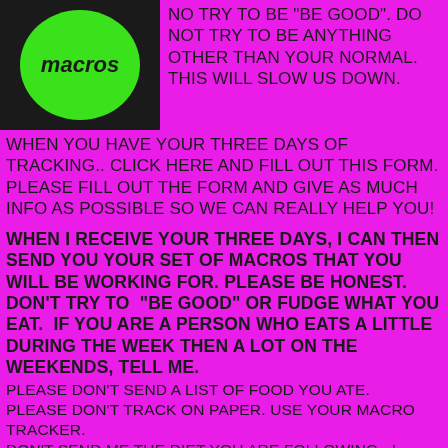[Figure (logo): Black square background with a green circle containing italic bold text 'macros']
NO TRY TO BE "BE GOOD". DO NOT TRY TO BE ANYTHING OTHER THAN YOUR NORMAL. THIS WILL SLOW US DOWN.
WHEN YOU HAVE YOUR THREE DAYS OF TRACKING.. CLICK HERE AND FILL OUT THIS FORM.
PLEASE FILL OUT THE FORM AND GIVE AS MUCH INFO AS POSSIBLE SO WE CAN REALLY HELP YOU!
WHEN I RECEIVE YOUR THREE DAYS, I CAN THEN SEND YOU YOUR SET OF MACROS THAT YOU WILL BE WORKING FOR. PLEASE BE HONEST. DON'T TRY TO "BE GOOD" OR FUDGE WHAT YOU EAT. IF YOU ARE A PERSON WHO EATS A LITTLE DURING THE WEEK THEN A LOT ON THE WEEKENDS, TELL ME.
PLEASE DON'T SEND A LIST OF FOOD YOU ATE.
PLEASE DON'T TRACK ON PAPER. USE YOUR MACRO TRACKER.
DON'T SEND ME THE DIET YOU ARE FOLLOWING.. I NEED